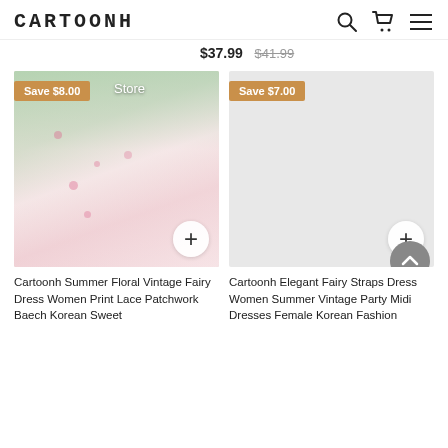CARTOONH
$37.99  $41.99
[Figure (photo): Product photo of a woman wearing a white floral pink lace patchwork fairy dress outdoors. Has a 'Save $8.00' badge and a '+' add-to-cart button.]
[Figure (photo): Placeholder gray image for Cartoonh Elegant Fairy Straps Dress with 'Save $7.00' badge and '+' add-to-cart button.]
Cartoonh Summer Floral Vintage Fairy Dress Women Print Lace Patchwork Baech Korean Sweet
Cartoonh Elegant Fairy Straps Dress Women Summer Vintage Party Midi Dresses Female Korean Fashion